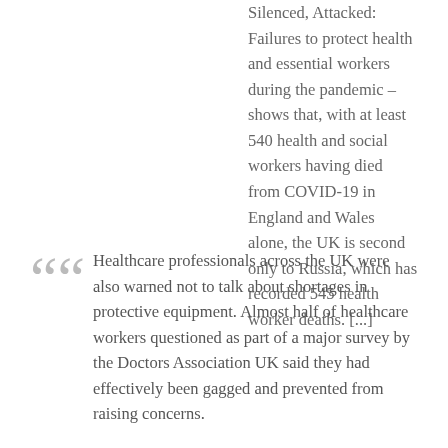Silenced, Attacked: Failures to protect health and essential workers during the pandemic – shows that, with at least 540 health and social workers having died from COVID-19 in England and Wales alone, the UK is second only to Russia, which has recorded 545 health worker deaths. [...]
Healthcare professionals across the UK were also warned not to talk about shortages in protective equipment. Almost half of healthcare workers questioned as part of a major survey by the Doctors Association UK said they had effectively been gagged and prevented from raising concerns.